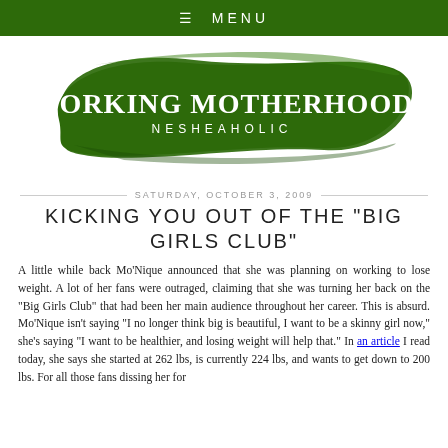≡ MENU
[Figure (logo): Working Motherhood Nesheaholic logo — white serif text on green brushstroke background]
SATURDAY, OCTOBER 3, 2009
KICKING YOU OUT OF THE "BIG GIRLS CLUB"
A little while back Mo'Nique announced that she was planning on working to lose weight. A lot of her fans were outraged, claiming that she was turning her back on the "Big Girls Club" that had been her main audience throughout her career. This is absurd. Mo'Nique isn't saying "I no longer think big is beautiful, I want to be a skinny girl now," she's saying "I want to be healthier, and losing weight will help that." In an article I read today, she says she started at 262 lbs, is currently 224 lbs, and wants to get down to 200 lbs. For all those fans dissing her for